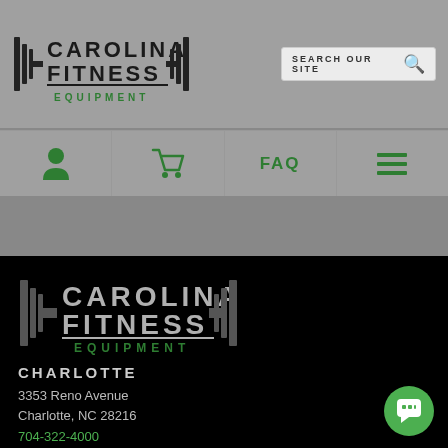Carolina Fitness Equipment
[Figure (logo): Carolina Fitness Equipment logo with barbell graphic in header]
[Figure (other): Search bar with magnifying glass icon]
[Figure (other): Navigation bar with user icon, cart icon, FAQ text, and hamburger menu icon]
[Figure (logo): Carolina Fitness Equipment footer logo with barbell graphic on black background]
CHARLOTTE
3353 Reno Avenue
Charlotte, NC 28216
704-322-4000
Email Carolina Fitness >
Hours of Operation: